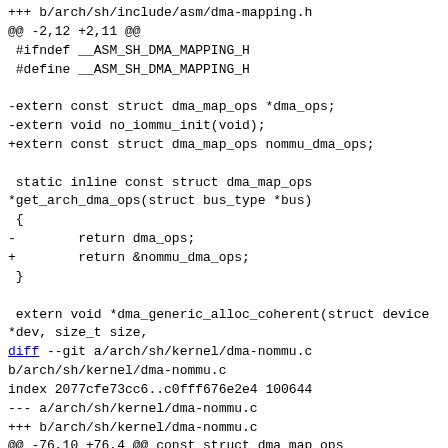+++ b/arch/sh/include/asm/dma-mapping.h
@@ -2,12 +2,11 @@
 #ifndef __ASM_SH_DMA_MAPPING_H
 #define __ASM_SH_DMA_MAPPING_H

-extern const struct dma_map_ops *dma_ops;
-extern void no_iommu_init(void);
+extern const struct dma_map_ops nommu_dma_ops;

 static inline const struct dma_map_ops
*get_arch_dma_ops(struct bus_type *bus)
 {
-        return dma_ops;
+        return &nommu_dma_ops;
 }

 extern void *dma_generic_alloc_coherent(struct device
*dev, size_t size,
diff --git a/arch/sh/kernel/dma-nommu.c
b/arch/sh/kernel/dma-nommu.c
index 2077cfe73cc6..c0fff676e2e4 100644
--- a/arch/sh/kernel/dma-nommu.c
+++ b/arch/sh/kernel/dma-nommu.c
@@ -76,10 +76,4 @@ const struct dma_map_ops
nommu_dma_ops = {
        .sync_sg_for_device      =
nommu_sync_sg_for_device,
 #endif
 };
-